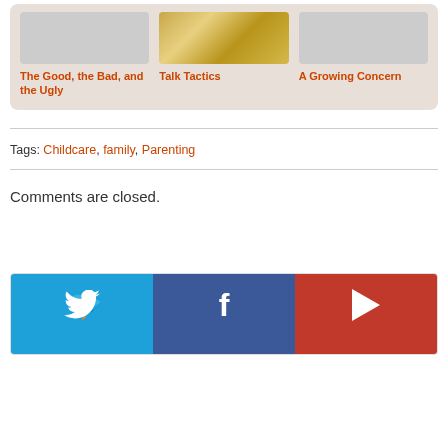[Figure (screenshot): Three related article thumbnails in a beige card: 'The Good, the Bad, and the Ugly', 'Talk Tactics', 'A Growing Concern']
Tags: Childcare, family, Parenting
Comments are closed.
[Figure (infographic): Social media bar with Twitter (blue), Facebook (dark blue), and YouTube (red) buttons]